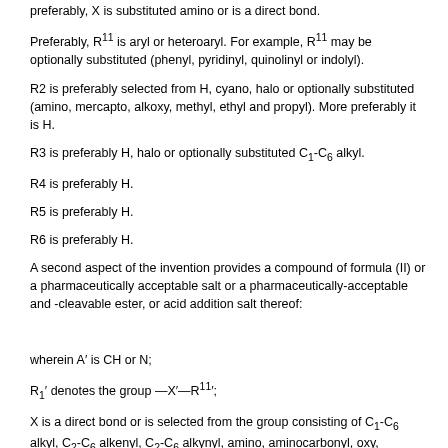preferably, X is substituted amino or is a direct bond.
Preferably, R11 is aryl or heteroaryl. For example, R11 may be optionally substituted (phenyl, pyridinyl, quinolinyl or indolyl).
R2 is preferably selected from H, cyano, halo or optionally substituted (amino, mercapto, alkoxy, methyl, ethyl and propyl). More preferably it is H.
R3 is preferably H, halo or optionally substituted C1-C6 alkyl.
R4 is preferably H.
R5 is preferably H.
R6 is preferably H.
A second aspect of the invention provides a compound of formula (II) or a pharmaceutically acceptable salt or a pharmaceutically-acceptable and -cleavable ester, or acid addition salt thereof:
wherein A′ is CH or N;
R1′ denotes the group —X′—R11′;
X is a direct bond or is selected from the group consisting of C1-C6 alkyl, C2-C6 alkenyl, C2-C6 alkynyl, amino, aminocarbonyl, oxy, carbonyl, carboxy;